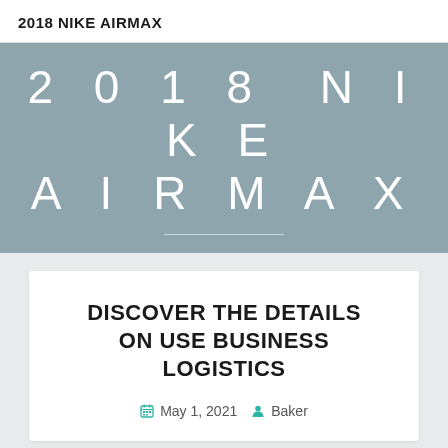2018 NIKE AIRMAX
2018 NIKE AIRMAX
DISCOVER THE DETAILS ON USE BUSINESS LOGISTICS
May 1, 2021  Baker